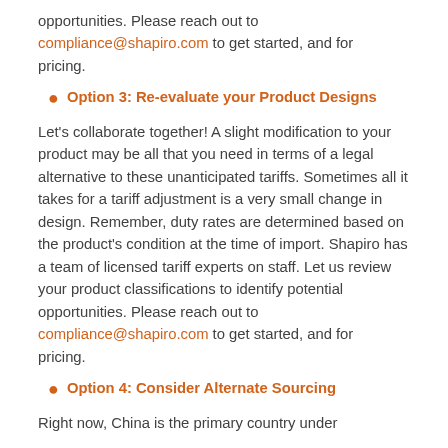opportunities. Please reach out to compliance@shapiro.com to get started, and for pricing.
Option 3: Re-evaluate your Product Designs
Let's collaborate together! A slight modification to your product may be all that you need in terms of a legal alternative to these unanticipated tariffs. Sometimes all it takes for a tariff adjustment is a very small change in design. Remember, duty rates are determined based on the product's condition at the time of import. Shapiro has a team of licensed tariff experts on staff. Let us review your product classifications to identify potential opportunities. Please reach out to compliance@shapiro.com to get started, and for pricing.
Option 4: Consider Alternate Sourcing
Right now, China is the primary country under